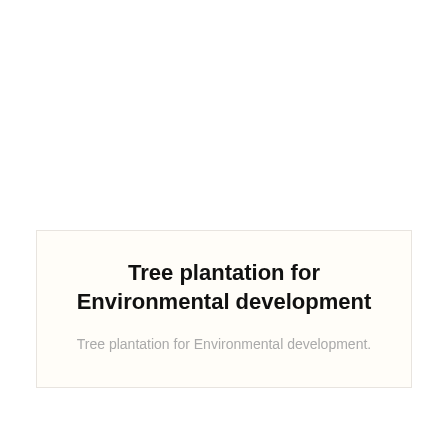Tree plantation for Environmental development
Tree plantation for Environmental development.